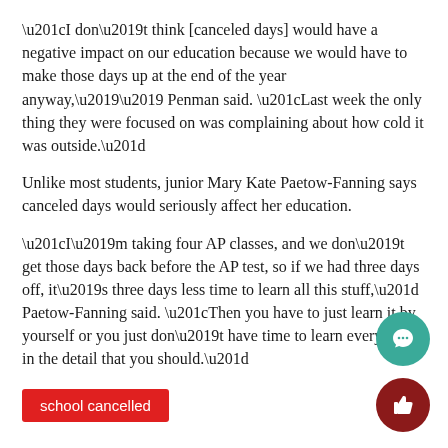“I don’t think [canceled days] would have a negative impact on our education because we would have to make those days up at the end of the year anyway,’’ Penman said. “Last week the only thing they were focused on was complaining about how cold it was outside.”
Unlike most students, junior Mary Kate Paetow-Fanning says canceled days would seriously affect her education.
“I’m taking four AP classes, and we don’t get those days back before the AP test, so if we had three days off, it’s three days less time to learn all this stuff,” Paetow-Fanning said. “Then you have to just learn it by yourself or you just don’t have time to learn everything in the detail that you should.”
school cancelled